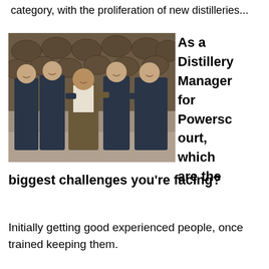category, with the proliferation of new distilleries...
[Figure (photo): Group photo of five men standing together in front of wooden barrels/casks in a distillery warehouse. Four men wear dark navy work clothes, and one man in the center wears a brown jacket. They are smiling and posing together.]
As a Distillery Manager for Powerscourt, which are the biggest challenges you're facing?
Initially getting good experienced people, once trained keeping them.